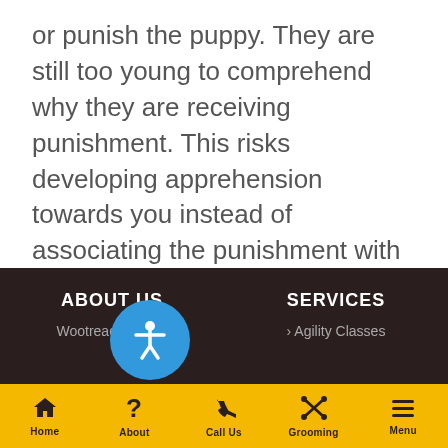or punish the puppy. They are still too young to comprehend why they are receiving punishment. This risks developing apprehension towards you instead of associating the punishment with the accident. Praising your puppy will usually get better results.
ABOUT US | Wootreach Sands  |  SERVICES | > Agility Classes
Home | About | Call Us | Grooming | Menu